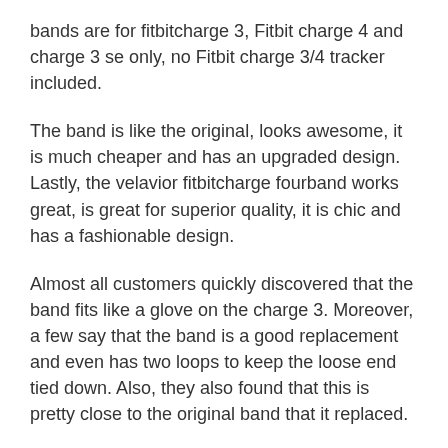bands are for fitbitcharge 3, Fitbit charge 4 and charge 3 se only, no Fitbit charge 3/4 tracker included.
The band is like the original, looks awesome, it is much cheaper and has an upgraded design. Lastly, the velavior fitbitcharge fourband works great, is great for superior quality, it is chic and has a fashionable design.
Almost all customers quickly discovered that the band fits like a glove on the charge 3. Moreover, a few say that the band is a good replacement and even has two loops to keep the loose end tied down. Also, they also found that this is pretty close to the original band that it replaced.
Top Customer Quotes: